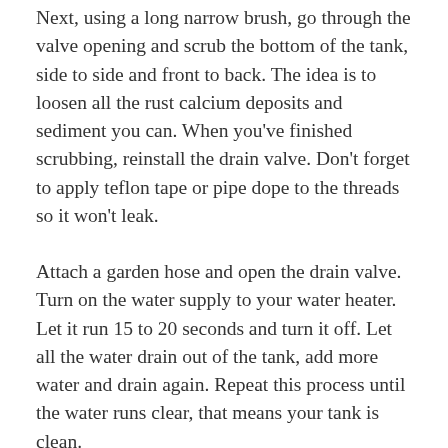Next, using a long narrow brush, go through the valve opening and scrub the bottom of the tank, side to side and front to back. The idea is to loosen all the rust calcium deposits and sediment you can. When you've finished scrubbing, reinstall the drain valve. Don't forget to apply teflon tape or pipe dope to the threads so it won't leak.
Attach a garden hose and open the drain valve. Turn on the water supply to your water heater. Let it run 15 to 20 seconds and turn it off. Let all the water drain out of the tank, add more water and drain again. Repeat this process until the water runs clear, that means your tank is clean.
Once your heater is clean, it's time to consider prevention so you don't have to go through this again. Every two to three months you should flush